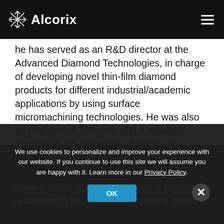Alcorix
he has served as an R&D director at the Advanced Diamond Technologies, in charge of developing novel thin-film diamond products for different industrial/academic applications by using surface micromachining technologies. He was also an engineer at Foxconn and a research scientist at the University of Illinois at Chicago. He authored 60 peer-reviewed papers and 13 patent applications (5 approved).
Betmarie Matos Vazquez
Chemical Engineer
Betmarie Matos Vazquez is a chemical engineer participating in the execution of technical projec... with more solutions and components...
We use cookies to personalize and improve your experience with our website. If you continue to use this site we will assume you are happy with it. Learn more in our Privacy Policy.